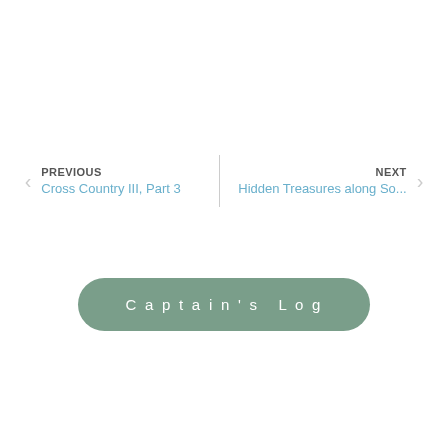PREVIOUS
Cross Country III, Part 3
NEXT
Hidden Treasures along So...
Captain's Log